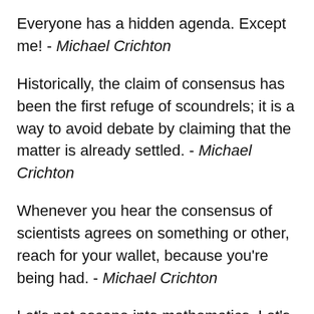Everyone has a hidden agenda. Except me! - Michael Crichton
Historically, the claim of consensus has been the first refuge of scoundrels; it is a way to avoid debate by claiming that the matter is already settled. - Michael Crichton
Whenever you hear the consensus of scientists agrees on something or other, reach for your wallet, because you're being had. - Michael Crichton
Let's not escape into mathematics. Let's stay with reality. - Michael Crichton
I believe my life has a value, and i don't